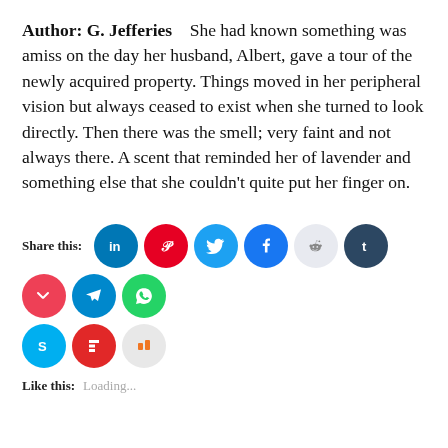Author: G. Jefferies    She had known something was amiss on the day her husband, Albert, gave a tour of the newly acquired property. Things moved in her peripheral vision but always ceased to exist when she turned to look directly. Then there was the smell; very faint and not always there. A scent that reminded her of lavender and something else that she couldn't quite put her finger on.
[Figure (infographic): Social share buttons row: LinkedIn (blue), Pinterest (red), Twitter (blue), Facebook (dark blue), Reddit (light gray), Tumblr (dark navy), Pocket (red), Telegram (blue), WhatsApp (green), then second row: Skype (cyan), Flipboard (red), Mix (orange)]
Like this:   Loading...